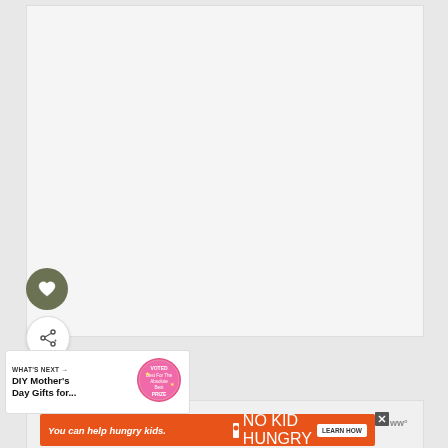[Figure (screenshot): Large white/light gray content area representing a webpage image placeholder]
[Figure (illustration): Dark olive green circular heart/save button]
[Figure (illustration): White circular share button with share icon]
WHAT'S NEXT → DIY Mother's Day Gifts for...
[Figure (illustration): Pink circular promotional badge with text]
[Figure (screenshot): Advertisement banner: 'You can help hungry kids.' with NO KID HUNGRY logo and LEARN HOW button on orange background]